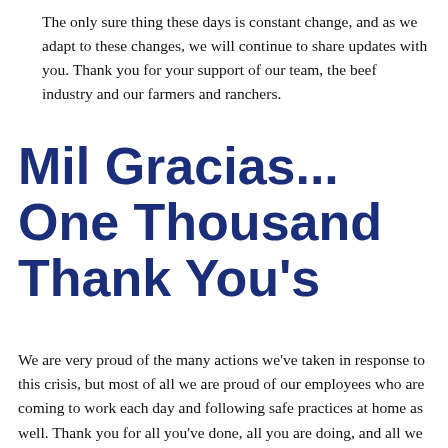The only sure thing these days is constant change, and as we adapt to these changes, we will continue to share updates with you. Thank you for your support of our team, the beef industry and our farmers and ranchers.
Mil Gracias... One Thousand Thank You's
We are very proud of the many actions we've taken in response to this crisis, but most of all we are proud of our employees who are coming to work each day and following safe practices at home as well. Thank you for all you've done, all you are doing, and all we will do